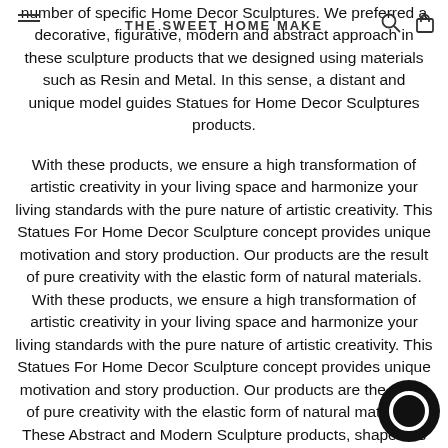THE SWEET HOME MAKE
number of specific Home Decor Sculptures. We preferred a decorative, figurative, modern and abstract approach in these sculpture products that we designed using materials such as Resin and Metal. In this sense, a distant and unique model guides Statues for Home Decor Sculptures products.
With these products, we ensure a high transformation of artistic creativity in your living space and harmonize your living standards with the pure nature of artistic creativity. This Statues For Home Decor Sculpture concept provides unique motivation and story production. Our products are the result of pure creativity with the elastic form of natural materials. With these products, we ensure a high transformation of artistic creativity in your living space and harmonize your living standards with the pure nature of artistic creativity. This Statues For Home Decor Sculpture concept provides unique motivation and story production. Our products are the result of pure creativity with the elastic form of natural materials. These Abstract and Modern Sculpture products, shaped as the form of the nature of artistic creativity, build the pure glory of each scene or event